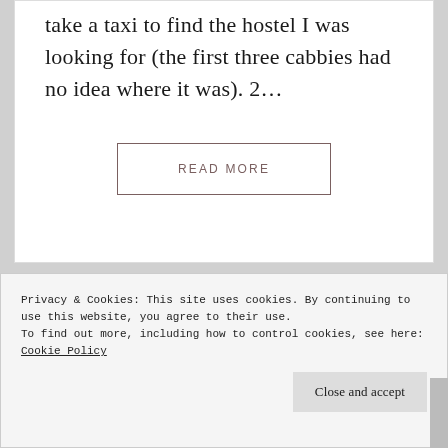take a taxi to find the hostel I was looking for (the first three cabbies had no idea where it was). 2...
READ MORE
Privacy & Cookies: This site uses cookies. By continuing to use this website, you agree to their use.
To find out more, including how to control cookies, see here: Cookie Policy
Close and accept